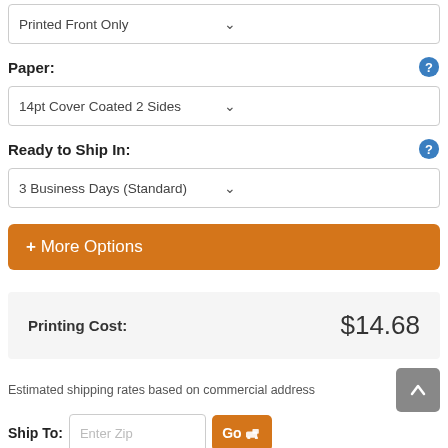Printed Front Only (dropdown)
Paper:
14pt Cover Coated 2 Sides (dropdown)
Ready to Ship In:
3 Business Days (Standard) (dropdown)
+ More Options
Printing Cost: $14.68
Estimated shipping rates based on commercial address
Ship To: Enter Zip Go